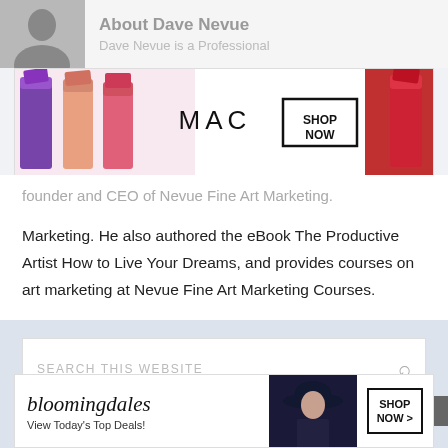About Dave Nevue
[Figure (photo): Profile photo thumbnail of Dave Nevue, partially visible on left side]
Dave Nevue is a Professional founder and CEO of Nevue Fine Art Marketing. He also authored the eBook The Productive Artist How to Live Your Dreams, and provides courses on art marketing at Nevue Fine Art Marketing Courses.
[Figure (advertisement): MAC cosmetics banner advertisement showing lipsticks in purple, pink, coral colors with MAC logo and SHOP NOW button]
founder and CEO of Nevue Fine Art Marketing.
Marketing. He also authored the eBook The Productive Artist How to Live Your Dreams, and provides courses on art marketing at Nevue Fine Art Marketing Courses.
[Figure (screenshot): Search box with placeholder text SEARCH THIS WEBSITE and magnifying glass icon]
CLOSE
[Figure (advertisement): Bloomingdales advertisement showing logo, View Today's Top Deals! tagline, model in blue hat, and SHOP NOW > button]